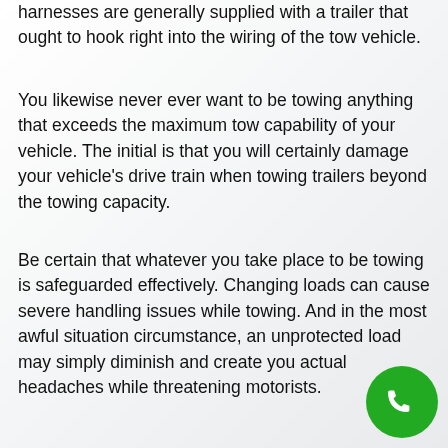harnesses are generally supplied with a trailer that ought to hook right into the wiring of the tow vehicle.
You likewise never ever want to be towing anything that exceeds the maximum tow capability of your vehicle. The initial is that you will certainly damage your vehicle's drive train when towing trailers beyond the towing capacity.
Be certain that whatever you take place to be towing is safeguarded effectively. Changing loads can cause severe handling issues while towing. And in the most awful situation circumstance, an unprotected load may simply diminish and create you actual headaches while threatening motorists.
[Figure (other): Green circular phone/call button icon in the bottom-right corner]